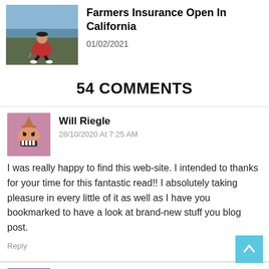[Figure (photo): Golfer crouching on a golf course wearing red top, outdoors near water]
Farmers Insurance Open In California
01/02/2021
54 COMMENTS
[Figure (illustration): Monster avatar icon with pink/mauve background]
Will Riegle
28/10/2020 At 7:25 AM
I was really happy to find this web-site. I intended to thanks for your time for this fantastic read!! I absolutely taking pleasure in every little of it as well as I have you bookmarked to have a look at brand-new stuff you blog post.
Reply
[Figure (illustration): Monster avatar icon with purple background]
bondage ideas
27/10/2020 At 6:49 AM